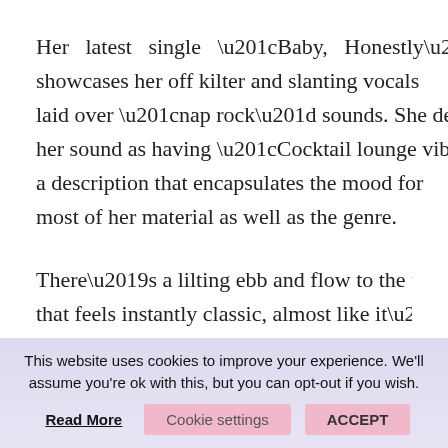Her latest single “Baby, Honestly” showcases her off kilter and slanting vocals laid over “nap rock” sounds. She describes her sound as having “Cocktail lounge vibes”; a description that encapsulates the mood for most of her material as well as the genre.
There’s a lilting ebb and flow to the track that feels instantly classic, almost like it’s sepia-tinged. “Baby, Honestly” calls to mind [text cut off]
This website uses cookies to improve your experience. We'll assume you're ok with this, but you can opt-out if you wish.